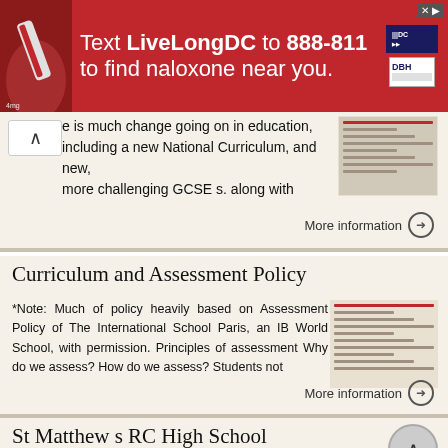[Figure (other): Red advertisement banner: Text LiveLongDC to 888-811 to find naloxone near you. DC and DBH logos visible.]
e is much change going on in education, including a new National Curriculum, and new, more challenging GCSE s. along with
More information →
Curriculum and Assessment Policy
*Note: Much of policy heavily based on Assessment Policy of The International School Paris, an IB World School, with permission. Principles of assessment Why do we assess? How do we assess? Students not
More information →
St Matthew s RC High School
St Matthew s RC High School Teachers of ...